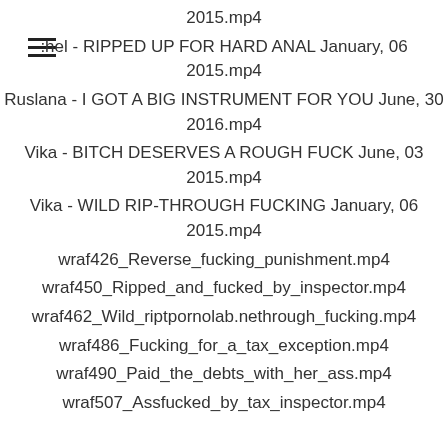2015.mp4
:hel - RIPPED UP FOR HARD ANAL January, 06 2015.mp4
Ruslana - I GOT A BIG INSTRUMENT FOR YOU June, 30 2016.mp4
Vika - BITCH DESERVES A ROUGH FUCK June, 03 2015.mp4
Vika - WILD RIP-THROUGH FUCKING January, 06 2015.mp4
wraf426_Reverse_fucking_punishment.mp4
wraf450_Ripped_and_fucked_by_inspector.mp4
wraf462_Wild_riptpornolab.nethrough_fucking.mp4
wraf486_Fucking_for_a_tax_exception.mp4
wraf490_Paid_the_debts_with_her_ass.mp4
wraf507_Assfucked_by_tax_inspector.mp4